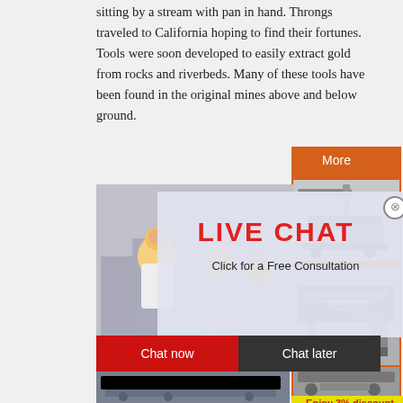sitting by a stream with pan in hand. Throngs traveled to California hoping to find their fortunes. Tools were soon developed to easily extract gold from rocks and riverbeds. Many of these tools have been found in the original mines above and below ground.
[Figure (photo): Live chat popup overlay with worker in yellow hard hat, red LIVE CHAT heading, 'Click for a Free Consultation' text, Chat now and Chat later buttons]
[Figure (photo): Mining machinery / industrial crusher equipment photo on orange sidebar background]
[Figure (infographic): Orange sidebar panel with More button, machinery images, Enjoy 3% discount Click to Chat banner, Enquiry section and limingjlmofen@sina.com contact]
[Figure (photo): Partial landscape/mountain photo at page bottom]